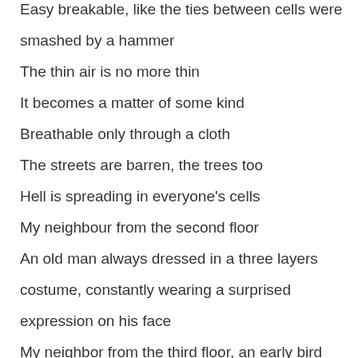Easy breakable, like the ties between cells were smashed by a hammer
The thin air is no more thin
It becomes a matter of some kind
Breathe only through a cloth
The streets are barren, the trees too
Hell is spreading in everyone's cells
My neighbour from the second floor
An old man always dressed in a three layers costume, constantly wearing a surprised expression on his face
My neighbor from the third floor, an early bird
Woke up that morning
His sight dimmer and dimmer
It took forever to get ready
He got nervous, anxious
He started hiding his desire to retire